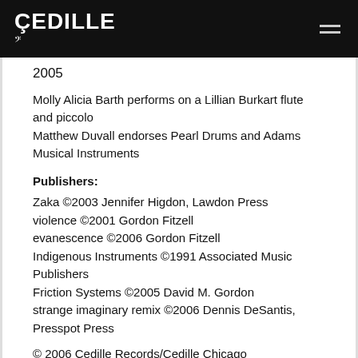CEDILLE
2005
Molly Alicia Barth performs on a Lillian Burkart flute and piccolo
Matthew Duvall endorses Pearl Drums and Adams Musical Instruments
Publishers:
Zaka ©2003 Jennifer Higdon, Lawdon Press
violence ©2001 Gordon Fitzell
evanescence ©2006 Gordon Fitzell
Indigenous Instruments ©1991 Associated Music Publishers
Friction Systems ©2005 David M. Gordon
strange imaginary remix ©2006 Dennis DeSantis, Presspot Press
© 2006 Cedille Records/Cedille Chicago
CDR 90000 094